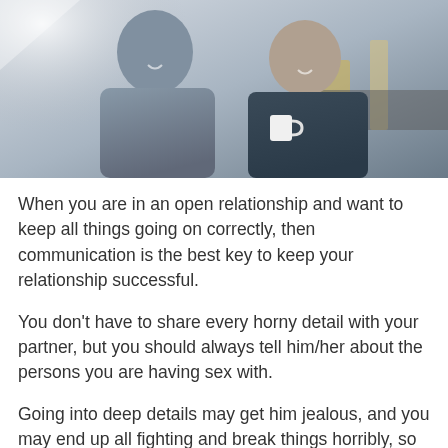[Figure (photo): A man and woman smiling and talking in a kitchen, the woman holding a white mug. Bright, natural light. Casual clothing.]
When you are in an open relationship and want to keep all things going on correctly, then communication is the best key to keep your relationship successful.
You don't have to share every horny detail with your partner, but you should always tell him/her about the persons you are having sex with.
Going into deep details may get him jealous, and you may end up all fighting and break things horribly, so keep the details low but don't hide the person's details.